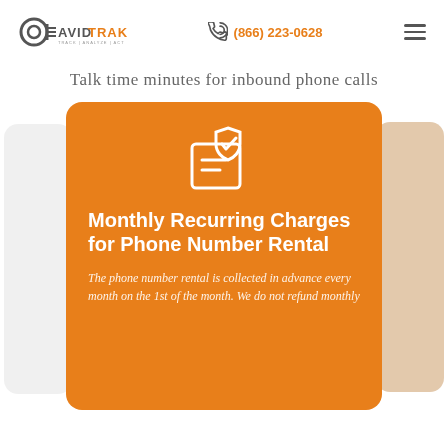AvidTrak | (866) 223-0628
Talk time minutes for inbound phone calls
[Figure (illustration): Orange card with verified document icon showing Monthly Recurring Charges for Phone Number Rental, with partial text: The phone number rental is collected in advance every month on the 1st of the month. We do not refund monthly]
Monthly Recurring Charges for Phone Number Rental
The phone number rental is collected in advance every month on the 1st of the month. We do not refund monthly